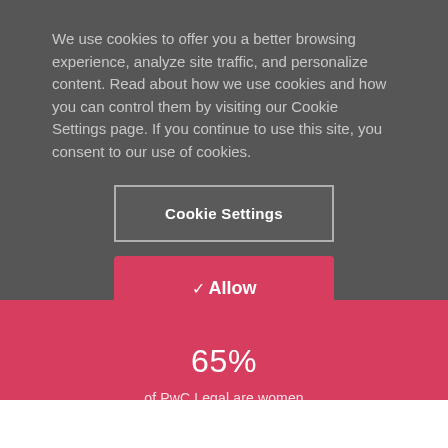We use cookies to offer you a better browsing experience, analyze site traffic, and personalize content. Read about how we use cookies and how you can control them by visiting our Cookie Settings page. If you continue to use this site, you consent to our use of cookies.
Cookie Settings
✓ Allow
65%
of PwC Legal are women